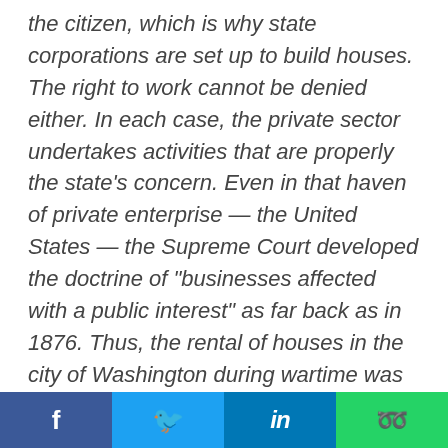the citizen, which is why state corporations are set up to build houses. The right to work cannot be denied either. In each case, the private sector undertakes activities that are properly the state’s concern. Even in that haven of private enterprise — the United States — the Supreme Court developed the doctrine of “businesses affected with a public interest” as far back as in 1876. Thus, the rental of houses in the city of Washington during wartime was held to be such a business. Abuses by such entities, in housing or employment, are amenable to judicial correction even in the absence of legislati
Share bar: Facebook, Twitter, LinkedIn, WhatsApp